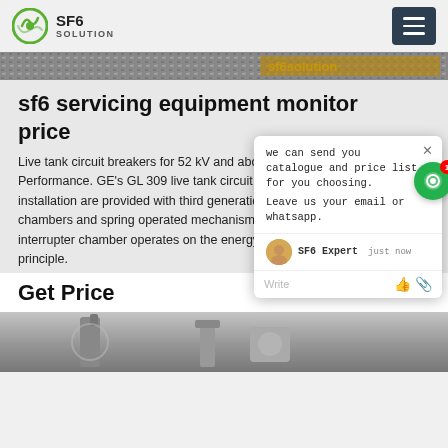SF6 SOLUTION
[Figure (screenshot): Hero image strip showing gravel/stone texture with orange text overlay]
sf6 servicing equipment monitor price
Live tank circuit breakers for 52 kV and above, Highly Reliable Performance. GE's GL 309 live tank circuit breakers for outdoor installation are provided with third generation self blast interrupter chambers and spring operated mechanisms. The field proven interrupter chamber operates on the energy optimized self blast principle.
[Figure (screenshot): Chat popup overlay: 'we can send you catalogue and price list for you choosing. Leave us your email or whatsapp.' with SF6 Expert agent avatar and justnow timestamp, Write field with emoji buttons]
Get Price
[Figure (photo): Bottom photograph showing industrial SF6 equipment in grey tones]